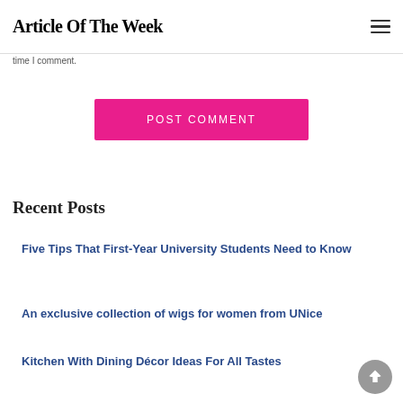Article Of The Week
time I comment.
POST COMMENT
Recent Posts
Five Tips That First-Year University Students Need to Know
An exclusive collection of wigs for women from UNice
Kitchen With Dining Décor Ideas For All Tastes